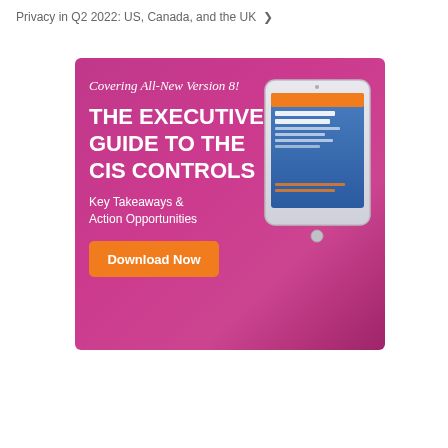Privacy in Q2 2022: US, Canada, and the UK ❯
[Figure (illustration): Advertisement banner for 'The Executive's Guide to the CIS Controls'. Purple/magenta gradient background. Top text: 'Covering All-New Version 8!' in italic white. Large bold white uppercase heading: 'THE EXECUTIVE'S GUIDE TO THE CIS CONTROLS'. Below: 'Key Takeaways & Action Opportunities' in white. Orange 'Download Now' button. Right side shows a tablet device displaying the book cover.]